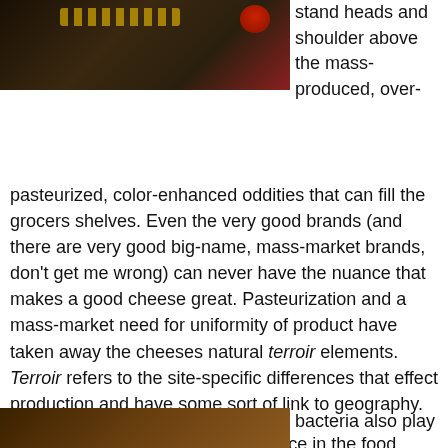[Figure (photo): Top portion of a food/cheese photo showing dark background with yellow and red elements]
stand heads and shoulder above the mass-produced, over-pasteurized, color-enhanced oddities that can fill the grocers shelves. Even the very good brands (and there are very good big-name, mass-market brands, don't get me wrong) can never have the nuance that makes a good cheese great. Pasteurization and a mass-market need for uniformity of product have taken away the cheeses natural terroir elements. Terroir refers to the site-specific differences that effect production and have some sort of link to geography.
I am sure pasteurization has its place in the food world. But the goal of pasteurization is to destroy bacteria. You can't have good cheese with out bacteria. With out bacteria, cheese would simply not taste like cheese, or at least very good cheese– with that special tang and stink defines it. We need bacteria to achieve this. Besides, we are learning that these
[Figure (photo): Bottom portion of a food/cheese photo]
bacteria also play